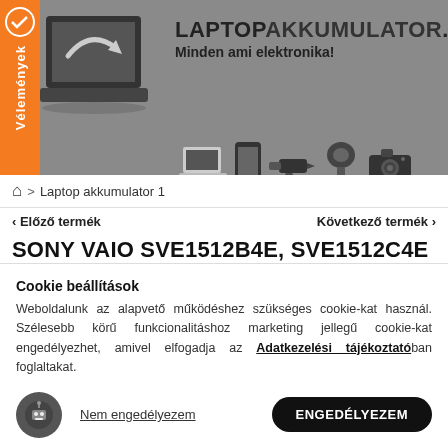[Figure (screenshot): Website header banner with gray background, orange side tab labeled 'Vélemények', laptop graphic on left, site name LAPTOPAKKUMULATOR.EU and tagline, product icons]
LAPTOPAKKUMULATOR.EU — Minden ami elektronika!
🏠 > Laptop akkumulator 1
< Előző termék    Következő termék >
SONY VAIO SVE1512B4E, SVE1512C4E LAPTOP AKKUMULÁTOR - 6600MAH (10.8V FEKETE) - UTÁNGYÁRTOTT
Cookie beállítások
Weboldalunk az alapvető működéshez szükséges cookie-kat használ. Szélesebb körű funkcionalitáshoz marketing jellegű cookie-kat engedélyezhet, amivel elfogadja az Adatkezelési tájékoztatóban foglaltakat.
Nem engedélyezem    ENGEDÉLYEZEM